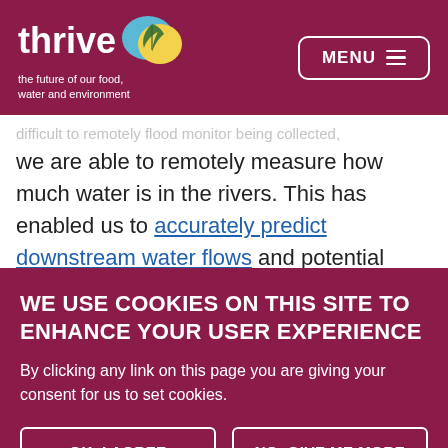thrive – the future of our food, water and environment | MENU
we are able to remotely measure how much water is in the rivers. This has enabled us to accurately predict downstream water flows and potential floods five days in advance,
WE USE COOKIES ON THIS SITE TO ENHANCE YOUR USER EXPERIENCE
By clicking any link on this page you are giving your consent for us to set cookies.
OK, I AGREE | NO, GIVE ME MORE INFO